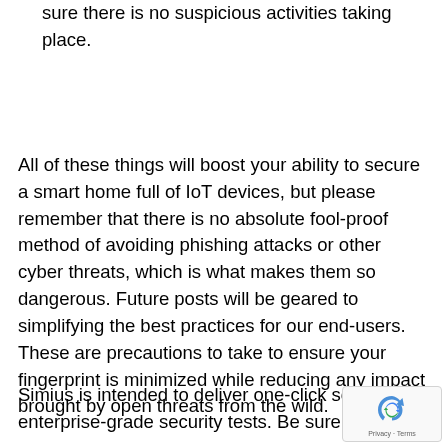sure there is no suspicious activities taking place.
All of these things will boost your ability to secure a smart home full of IoT devices, but please remember that there is no absolute fool-proof method of avoiding phishing attacks or other cyber threats, which is what makes them so dangerous. Future posts will be geared to simplifying the best practices for our end-users. These are precautions to take to ensure your fingerprint is minimized while reducing any impact brought by open threats from the wild.
Simius is intended to deliver one-click solution enterprise-grade security tests. Be sure to keep